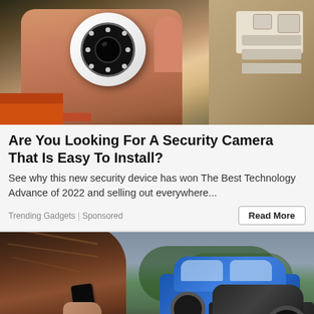[Figure (photo): A hand holding a small white round security camera with LED ring around the lens, with a cardboard box with foam packaging in the background and an orange toolbox at the bottom left.]
Are You Looking For A Security Camera That Is Easy To Install?
See why this new security device has won The Best Technology Advance of 2022 and selling out everywhere...
Trending Gadgets | Sponsored
[Figure (photo): A woman seen from behind, talking on a mobile phone, with two cars (a blue car and a dark car) in the background suggesting a traffic accident scene.]